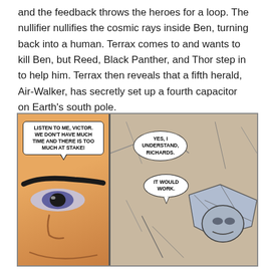and the feedback throws the heroes for a loop. The nullifier nullifies the cosmic rays inside Ben, turning back into a human. Terrax comes to and wants to kill Ben, but Reed, Black Panther, and Thor step in to help him. Terrax then reveals that a fifth herald, Air-Walker, has secretly set up a fourth capacitor on Earth's south pole.
[Figure (illustration): Comic book panel split into two sections. Left panel shows a close-up of a man's intense face (Victor/Doctor Doom) on an orange-tan background with speech bubble: 'LISTEN TO ME, VICTOR. WE DON'T HAVE MUCH TIME AND THERE IS TOO MUCH AT STAKE!' Right panel shows an armored figure (Richards) on a rocky/shattered background with two speech bubbles: 'YES, I UNDERSTAND, RICHARDS.' and 'IT WOULD WORK.']